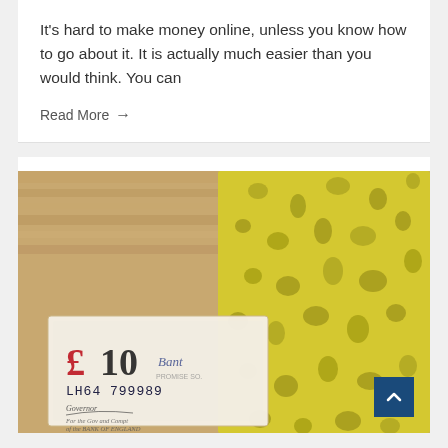It's hard to make money online, unless you know how to go about it. It is actually much easier than you would think. You can
Read More →
[Figure (photo): Close-up photo of a yellow sponge next to a £10 Bank of England banknote (serial number LH64 799989) on a wooden surface.]